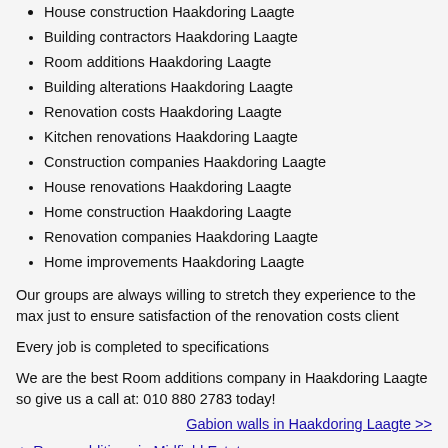House construction Haakdoring Laagte
Building contractors Haakdoring Laagte
Room additions Haakdoring Laagte
Building alterations Haakdoring Laagte
Renovation costs Haakdoring Laagte
Kitchen renovations Haakdoring Laagte
Construction companies Haakdoring Laagte
House renovations Haakdoring Laagte
Home construction Haakdoring Laagte
Renovation companies Haakdoring Laagte
Home improvements Haakdoring Laagte
Our groups are always willing to stretch they experience to the max just to ensure satisfaction of the renovation costs client
Every job is completed to specifications
We are the best Room additions company in Haakdoring Laagte so give us a call at: 010 880 2783 today!
Gabion walls in Haakdoring Laagte >>
-> Room additions in Midfield Estate
-> Room additions in Waterval Estate
-> Room additions in Theresapark
-> Room additions in Edenhill
-> Room additions in Randpark